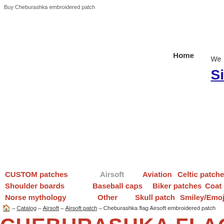Buy Cheburashka embroidered patch
Home
We
Si
CUSTOM patches
Airsoft
Aviation
Celtic patches
Shoulder boards
Baseball caps
Biker patches
Coat of a
Norse mythology
Other
Skull patch
Smiley/Emoji
🏠 – Catalog – Airsoft – Airsoft patch – Cheburashka flag Airsoft embroidered patch
CHEBURASHKA FLAG AIRSO